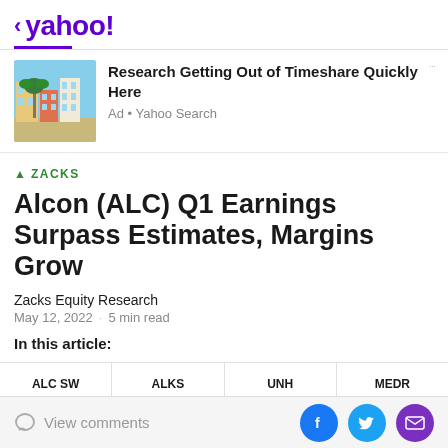< yahoo!
[Figure (screenshot): Yahoo news article page screenshot showing an ad for timeshare research and a Zacks article about Alcon Q1 Earnings]
Research Getting Out of Timeshare Quickly Here
Ad • Yahoo Search
▲ ZACKS
Alcon (ALC) Q1 Earnings Surpass Estimates, Margins Grow
Zacks Equity Research
May 12, 2022 · 5 min read
In this article:
ALC SW    ALKS    UNH    MEDR
View comments